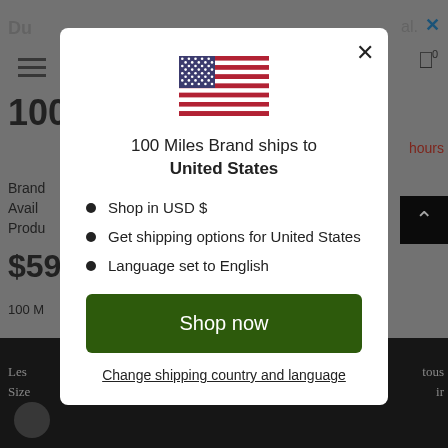[Figure (screenshot): Background screenshot of an e-commerce product page (100 Miles Brand) in a grayed-out state behind a modal overlay]
[Figure (illustration): US flag icon (stars and stripes) displayed at top center of modal dialog]
100 Miles Brand ships to United States
Shop in USD $
Get shipping options for United States
Language set to English
Shop now
Change shipping country and language